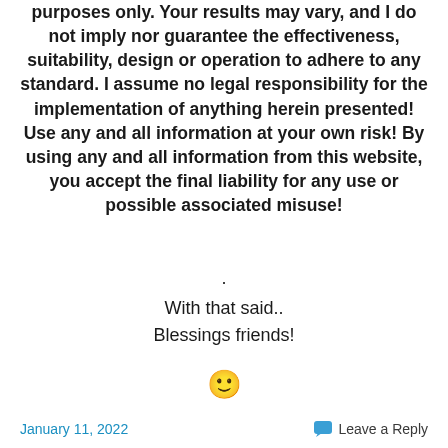purposes only. Your results may vary, and I do not imply nor guarantee the effectiveness, suitability, design or operation to adhere to any standard. I assume no legal responsibility for the implementation of anything herein presented! Use any and all information at your own risk! By using any and all information from this website, you accept the final liability for any use or possible associated misuse!
.
With that said..
Blessings friends!
🙂
January 11, 2022    💬 Leave a Reply